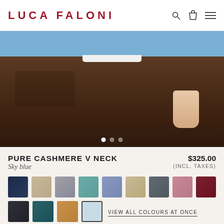LUCA FALONI
[Figure (photo): Product photo of a man wearing dark brown cashmere trousers with a sky blue V-neck sweater, cropped to show torso and hands]
PURE CASHMERE V NECK
$325.00
Sky blue
(INCL. TAXES)
[Figure (infographic): Color swatch selector showing 13 color options: navy, beige/tan, grey, teal, blue-grey, light tan, dark grey, pink, burgundy, charcoal, dark teal, caramel, sky blue (selected)]
VIEW ALL COLOURS AT ONCE
Size  CHANGE TO IT/EU SIZING  SIZE GUIDE